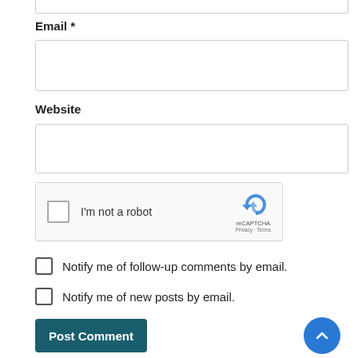Email *
[Figure (screenshot): Email input text field, empty, with light border]
Website
[Figure (screenshot): Website input text field, empty, with light border]
[Figure (screenshot): reCAPTCHA widget with checkbox labeled I'm not a robot and reCAPTCHA logo with Privacy and Terms links]
Notify me of follow-up comments by email.
Notify me of new posts by email.
[Figure (screenshot): Post Comment button (dark teal) and a blue circular up-arrow button]